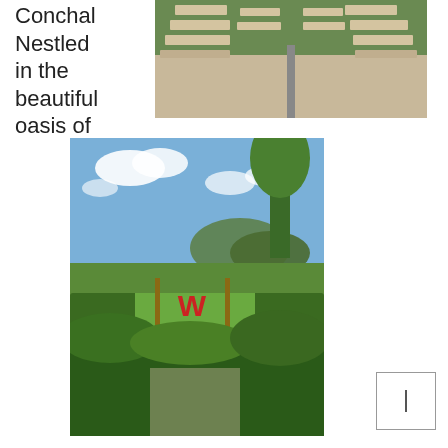Conchal Nestled in the beautiful oasis of
[Figure (photo): Aerial or ground-level view of stone stepping path through grass and concrete paved area]
[Figure (photo): W Hotel Conchal sign with red W logo on posts, surrounded by green hedges, lawn, mountains and blue sky in background]